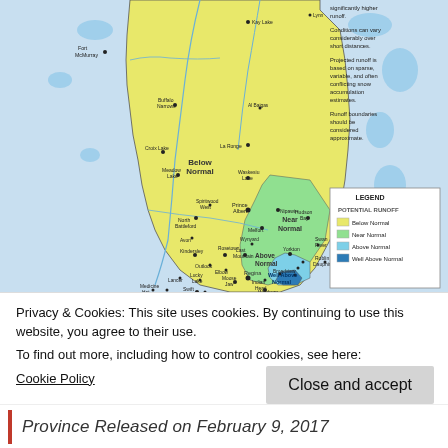[Figure (map): Saskatchewan province runoff potential map showing Below Normal (yellow), Near Normal (light green), Above Normal (light blue), and Well Above Normal (dark blue) zones. Includes city labels and a legend. Sidebar text notes: significantly higher runoff; Conditions can vary considerably over short distances; Projected runoff is based on sparse, variable, and often conflicting snow accumulation estimates; Runoff boundaries should be considered approximate.]
Privacy & Cookies: This site uses cookies. By continuing to use this website, you agree to their use.
To find out more, including how to control cookies, see here:
Cookie Policy
Close and accept
Province Released on February 9, 2017